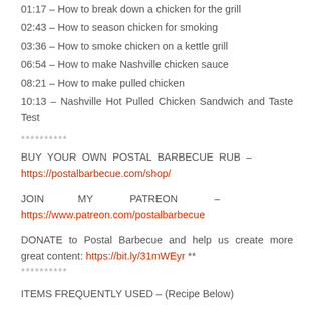01:17 – How to break down a chicken for the grill
02:43 – How to season chicken for smoking
03:36 – How to smoke chicken on a kettle grill
06:54 – How to make Nashville chicken sauce
08:21 – How to make pulled chicken
10:13 – Nashville Hot Pulled Chicken Sandwich and Taste Test
**********
BUY YOUR OWN POSTAL BARBECUE RUB – https://postalbarbecue.com/shop/
JOIN MY PATREON – https://www.patreon.com/postalbarbecue
DONATE to Postal Barbecue and help us create more great content: https://bit.ly/31mWEyr ** **********
ITEMS FREQUENTLY USED – (Recipe Below)